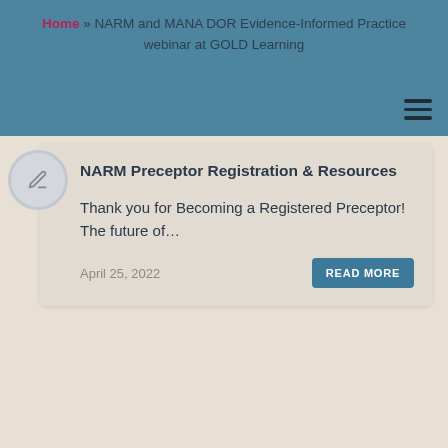Home » NARM and MANA DOR Evidence-Informed Practice webinar at GOLD Learning
NARM Preceptor Registration & Resources
Thank you for Becoming a Registered Preceptor! The future of...
April 25, 2022
READ MORE